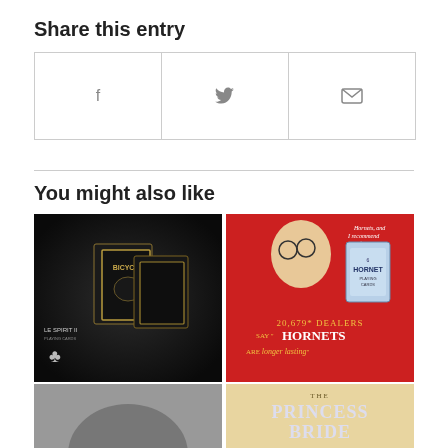Share this entry
[Figure (other): Social share buttons row with Facebook, Twitter, and Email icons inside a bordered box]
You might also like
[Figure (photo): Dark themed Bicycle playing card box product photo labeled 'LE SPIRIT II']
[Figure (photo): Vintage red advertisement for Hornet Playing Cards reading '20,679* Dealers say HORNETS are longer lasting']
[Figure (photo): Partial image of The Princess Bride themed playing cards on tan/cream background]